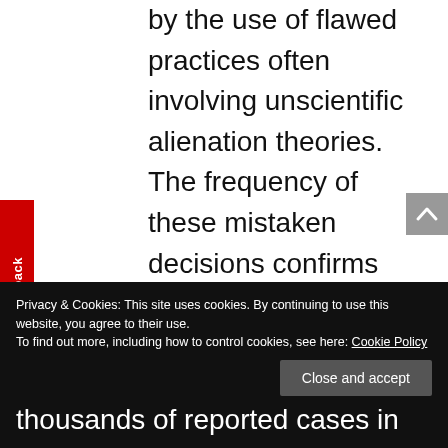by the use of flawed practices often involving unscientific alienation theories. The frequency of these mistaken decisions confirms that courts are relying on unqualified professionals. Even more disturbing, we have seen many cases in which judges leave these bad decisions in place even after the Saunders' findings are provided to the court.
Privacy & Cookies: This site uses cookies. By continuing to use this website, you agree to their use.
To find out more, including how to control cookies, see here: Cookie Policy
thousands of reported cases in